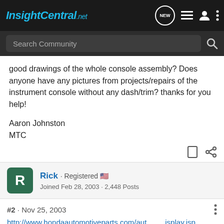[Figure (screenshot): InsightCentral.net navigation bar with logo and icons]
[Figure (screenshot): Search Community search bar]
good drawings of the whole console assembly? Does anyone have any pictures from projects/repairs of the instrument console without any dash/trim? thanks for you help!
Aaron Johnston
MTC
#2 · Nov 25, 2003
Rick · Registered 🇺🇸
Joined Feb 28, 2003 · 2,448 Posts
http://www.hondaautomotiveparts.com/aut...jsplay.jsp